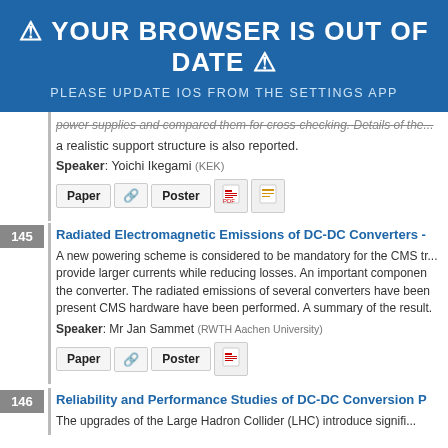⚠ YOUR BROWSER IS OUT OF DATE ⚠
PLEASE UPDATE IOS FROM THE SETTINGS APP
power supplies and compared them for cross-checking. Details of the... a realistic support structure is also reported.
Speaker: Yoichi Ikegami (KEK)
[Paper] [link] [Poster] [PDF icon] [doc icon]
145 Radiated Electromagnetic Emissions of DC-DC Converters -
A new powering scheme is considered to be mandatory for the CMS tr... provide larger currents while reducing losses. An important component the converter. The radiated emissions of several converters have been present CMS hardware have been performed. A summary of the result.
Speaker: Mr Jan Sammet (RWTH Aachen University)
[Paper] [link] [Poster] [PDF icon]
146 Reliability and Performance Studies of DC-DC Conversion P
The upgrades of the Large Hadron Collider (LHC) introduce signifi...